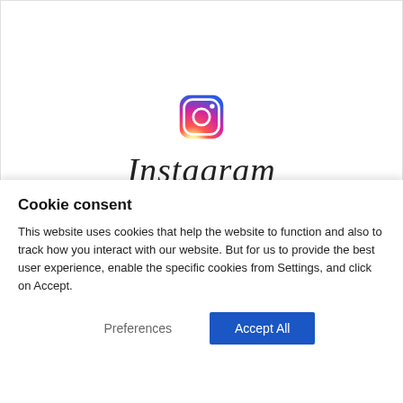[Figure (logo): Instagram app logo and wordmark — colorful gradient camera icon above the Instagram script text]
Cookie consent
This website uses cookies that help the website to function and also to track how you interact with our website. But for us to provide the best user experience, enable the specific cookies from Settings, and click on Accept.
Preferences
Accept All